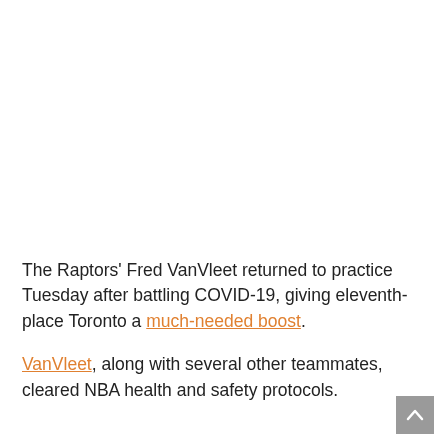The Raptors' Fred VanVleet returned to practice Tuesday after battling COVID-19, giving eleventh-place Toronto a much-needed boost.
VanVleet, along with several other teammates, cleared NBA health and safety protocols.